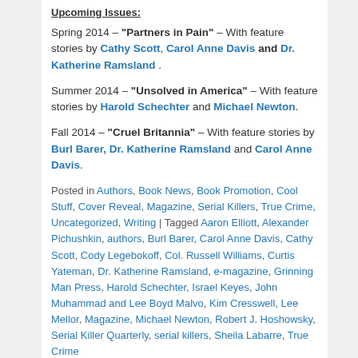Upcoming Issues:
Spring 2014 – "Partners in Pain" – With feature stories by Cathy Scott, Carol Anne Davis and Dr. Katherine Ramsland.
Summer 2014 – "Unsolved in America" – With feature stories by Harold Schechter and Michael Newton.
Fall 2014 – "Cruel Britannia" – With feature stories by Burl Barer, Dr. Katherine Ramsland and Carol Anne Davis.
Posted in Authors, Book News, Book Promotion, Cool Stuff, Cover Reveal, Magazine, Serial Killers, True Crime, Uncategorized, Writing | Tagged Aaron Elliott, Alexander Pichushkin, authors, Burl Barer, Carol Anne Davis, Cathy Scott, Cody Legebokoff, Col. Russell Williams, Curtis Yateman, Dr. Katherine Ramsland, e-magazine, Grinning Man Press, Harold Schechter, Israel Keyes, John Muhammad and Lee Boyd Malvo, Kim Cresswell, Lee Mellor, Magazine, Michael Newton, Robert J. Hoshowsky, Serial Killer Quarterly, serial killers, Sheila Labarre, True Crime | Leave a reply